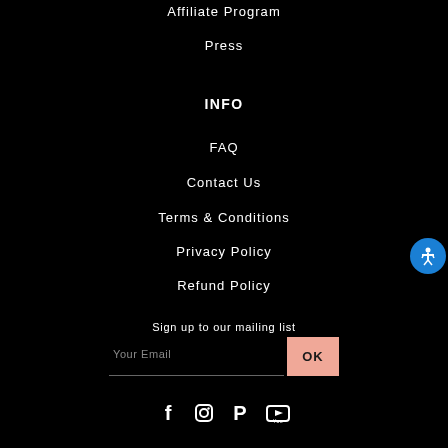Affiliate Program
Press
INFO
FAQ
Contact Us
Terms & Conditions
Privacy Policy
Refund Policy
Sign up to our mailing list
Your Email  OK
[Figure (infographic): Social media icons: Facebook, Instagram, Pinterest, YouTube]